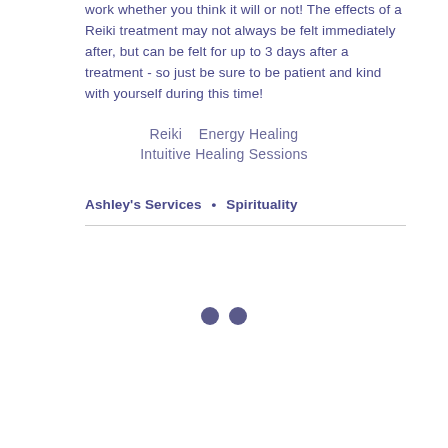work whether you think it will or not! The effects of a Reiki treatment may not always be felt immediately after, but can be felt for up to 3 days after a treatment - so just be sure to be patient and kind with yourself during this time!
Reiki   Energy Healing
Intuitive Healing Sessions
Ashley's Services  •  Spirituality
[Figure (other): Two dark purple/indigo filled circles (pagination dots) centered horizontally on the page]